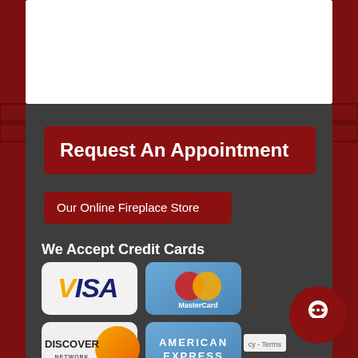[Figure (screenshot): White header area at top of page (partially visible)]
Request An Appointment
Our Online Fireplace Store
We Accept Credit Cards
[Figure (other): Credit card logos: Visa, MasterCard, Discover Network, American Express]
cy - Terms